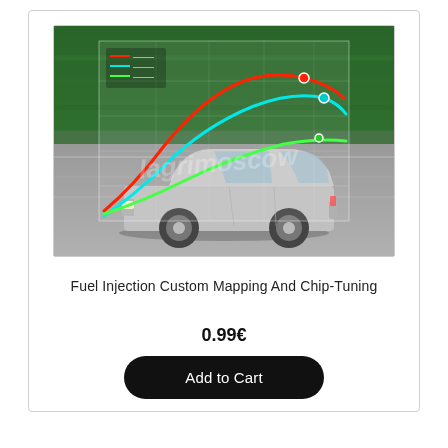[Figure (illustration): Product image showing a silver sedan car driving fast with a performance dyno chart overlay showing red, cyan, and green curves (power/torque before and after chip tuning), with a semi-transparent grid overlay and watermark text.]
Fuel Injection Custom Mapping And Chip-Tuning
0.99€
Add to Cart